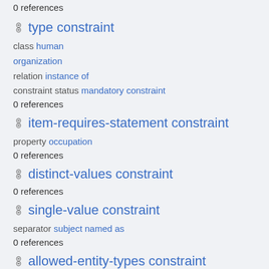0 references
type constraint
class human
organization
relation instance of
constraint status mandatory constraint
0 references
item-requires-statement constraint
property occupation
0 references
distinct-values constraint
0 references
single-value constraint
separator subject named as
0 references
allowed-entity-types constraint
item of property constraint Wikibase item